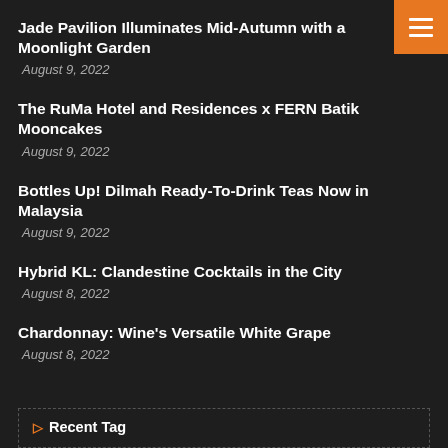Jade Pavilion Illuminates Mid-Autumn with a Moonlight Garden
August 9, 2022
The RuMa Hotel and Residences x FERN Batik Mooncakes
August 9, 2022
Bottles Up! Dilmah Ready-To-Drink Teas Now in Malaysia
August 9, 2022
Hybrid KL: Clandestine Cocktails in the City
August 8, 2022
Chardonnay: Wine's Versatile White Grape
August 8, 2022
Recent Tag